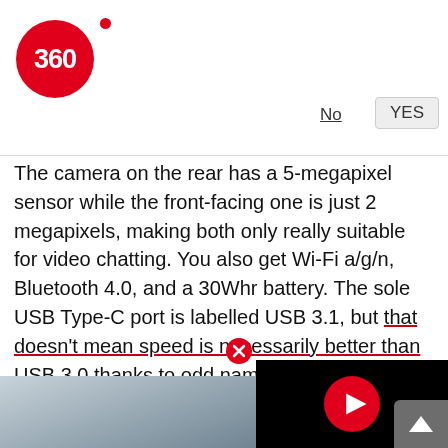[Figure (logo): Gadgets 360 red circular logo with '360' text and a red dot]
Subscribe to Gadgets 360 alerts
For breaking tech news, latest reviews, and more
No
YES
The camera on the rear has a 5-megapixel sensor while the front-facing one is just 2 megapixels, making both only really suitable for video chatting. You also get Wi-Fi a/g/n, Bluetooth 4.0, and a 30Whr battery. The sole USB Type-C port is labelled USB 3.1, but that doesn't mean speed is necessarily better than USB 3.0 thanks to odd naming conventions.
[Figure (screenshot): Black video player panel with red play button circle]
[Figure (photo): Close-up photo of a device edge/corner, blurred background]